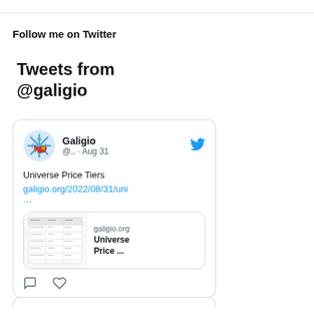Follow me on Twitter
Tweets from @galigio
[Figure (screenshot): A Twitter/social media embed card showing a tweet from user Galigio (@..) posted Aug 31, with text 'Universe Price Tiers', a link galigio.org/2022/08/31/uni..., a link preview card showing a table image and text 'galigio.org Universe Price ...', and action icons (comment, like) at the bottom.]